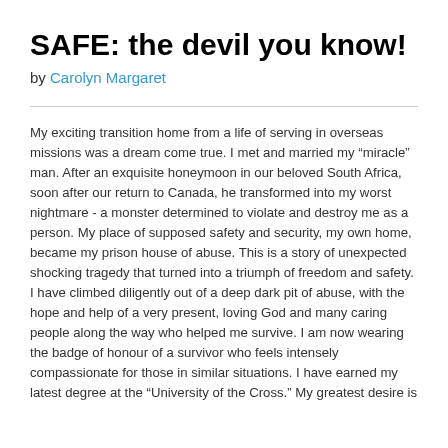SAFE: the devil you know!
by Carolyn Margaret
My exciting transition home from a life of serving in overseas missions was a dream come true. I met and married my “miracle” man. After an exquisite honeymoon in our beloved South Africa, soon after our return to Canada, he transformed into my worst nightmare - a monster determined to violate and destroy me as a person. My place of supposed safety and security, my own home, became my prison house of abuse. This is a story of unexpected shocking tragedy that turned into a triumph of freedom and safety. I have climbed diligently out of a deep dark pit of abuse, with the hope and help of a very present, loving God and many caring people along the way who helped me survive. I am now wearing the badge of honour of a survivor who feels intensely compassionate for those in similar situations. I have earned my latest degree at the “University of the Cross.” My greatest desire is